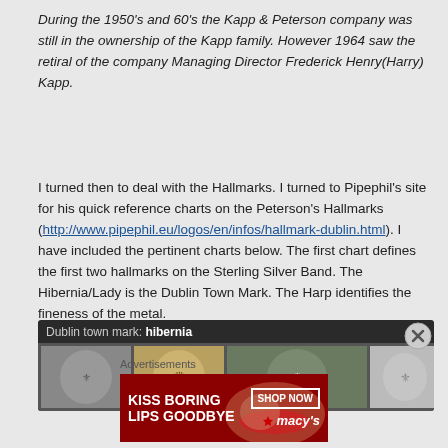During the 1950's and 60's the Kapp & Peterson company was still in the ownership of the Kapp family. However 1964 saw the retiral of the company Managing Director Frederick Henry(Harry) Kapp.
I turned then to deal with the Hallmarks. I turned to Pipephil's site for his quick reference charts on the Peterson's Hallmarks (http://www.pipephil.eu/logos/en/infos/hallmark-dublin.html). I have included the pertinent charts below. The first chart defines the first two hallmarks on the Sterling Silver Band. The Hibernia/Lady is the Dublin Town Mark. The Harp identifies the fineness of the metal.
[Figure (photo): Dublin town mark: hibernia — a dark-background panel showing multiple coin/hallmark images with figures, labeled 'Dublin town mark: hibernia']
Advertisements
[Figure (other): Macy's advertisement banner: KISS BORING LIPS GOODBYE — SHOP NOW — macy's]